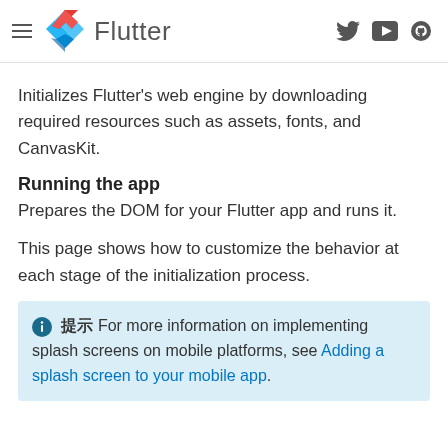Flutter
Initializes Flutter’s web engine by downloading required resources such as assets, fonts, and CanvasKit.
Running the app
Prepares the DOM for your Flutter app and runs it.
This page shows how to customize the behavior at each stage of the initialization process.
ℹ 提示 For more information on implementing splash screens on mobile platforms, see Adding a splash screen to your mobile app.